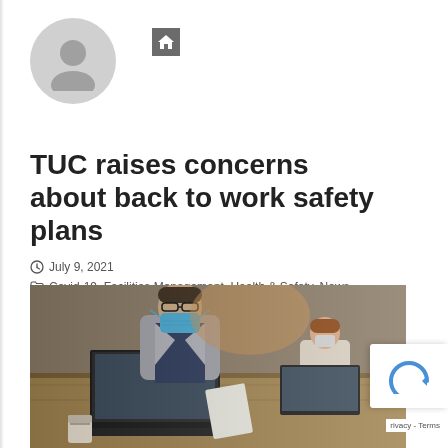[Figure (illustration): Grey circle avatar/profile placeholder icon]
[Figure (illustration): Dark grey house/home icon in a square button]
TUC raises concerns about back to work safety plans
July 9, 2021
Covid-19, Facilities Management, Health & Safety, News, Retail, Uncategorized, Workplace
[Figure (photo): Man in grey suit and blue face mask working on laptop at a desk; woman with face mask visible in background at another desk]
Privacy - Terms